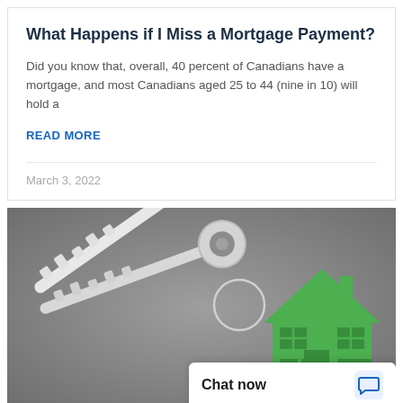What Happens if I Miss a Mortgage Payment?
Did you know that, overall, 40 percent of Canadians have a mortgage, and most Canadians aged 25 to 44 (nine in 10) will hold a
READ MORE
March 3, 2022
[Figure (photo): Two silver keys on a keyring with a green house-shaped keychain, set against a grey background]
Chat now
How Fast Can You